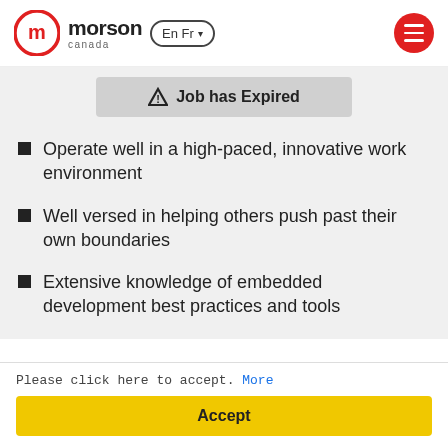Morson Canada | EnFr | Menu
⚠ Job has Expired
Operate well in a high-paced, innovative work environment
Well versed in helping others push past their own boundaries
Extensive knowledge of embedded development best practices and tools
Please click here to accept. More
Accept